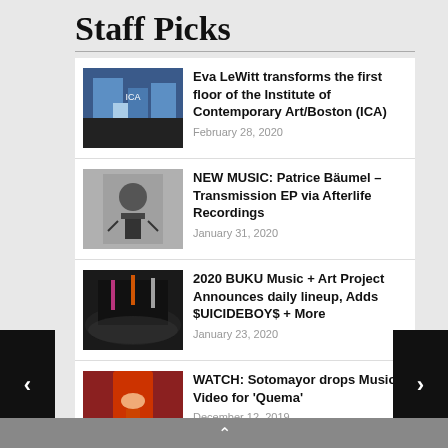Staff Picks
Eva LeWitt transforms the first floor of the Institute of Contemporary Art/Boston (ICA)
NEW MUSIC: Patrice Bäumel – Transmission EP via Afterlife Recordings
2020 BUKU Music + Art Project Announces daily lineup, Adds $UICIDEBOY$ + More
WATCH: Sotomayor drops Music Video for 'Quema'